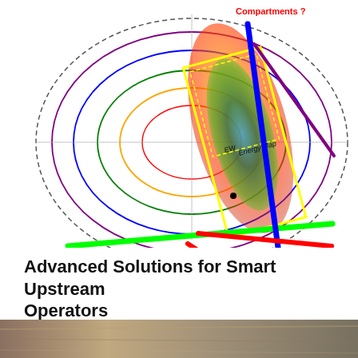[Figure (schematic): Seismic / reservoir compartment map overlay showing colored concentric ellipses (purple, blue, green, orange, red), a dashed outer circle, a central seismic amplitude map with yellow boundary rectangle, diagonal colored lines (green, blue, red, purple) crossing the map, and a label 'Compartments ?' in red text at the top right.]
Advanced Solutions for Smart Upstream Operators